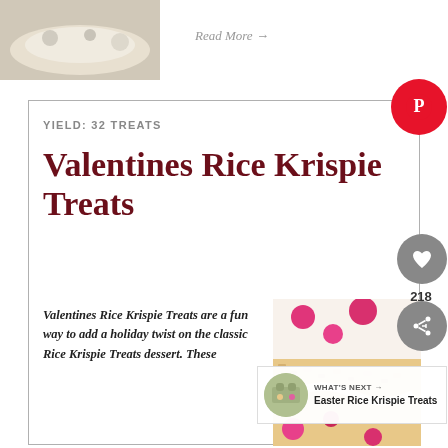[Figure (photo): Food photo thumbnail in top-left corner]
Read More →
YIELD: 32 TREATS
Valentines Rice Krispie Treats
Valentines Rice Krispie Treats are a fun way to add a holiday twist on the classic Rice Krispie Treats dessert. These
[Figure (photo): Close-up food photo of Rice Krispie Treats with pink M&Ms]
WHAT'S NEXT → Easter Rice Krispie Treats